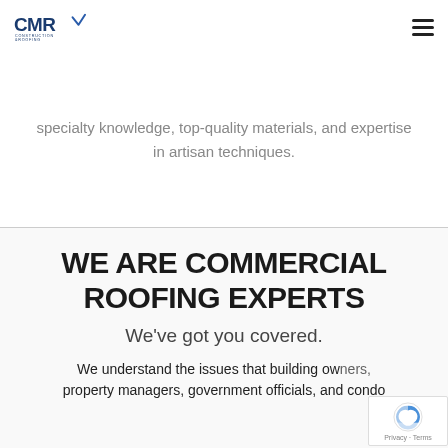CMR Construction & Roofing
specialty knowledge, top-quality materials, and expertise in artisan techniques.
WE ARE COMMERCIAL ROOFING EXPERTS
We've got you covered.
We understand the issues that building owners, property managers, government officials, and condo